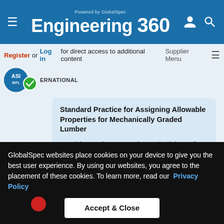Powered by GlobalSpec Engineering 360
Register or Log in for direct access to additional content
Supplier Menu
Standard Practice for Assigning Allowable Properties for Mechanically Graded Lumber
1.1 This practice covers the methodology of grade qualification, assignment of design properties, and requirements for the quality control of mechanically graded solid sawn lumber. 1.2 This practice...
GlobalSpec websites place cookies on your device to give you the best user experience. By using our websites, you agree to the placement of these cookies. To learn more, read our Privacy Policy
Accept & Close